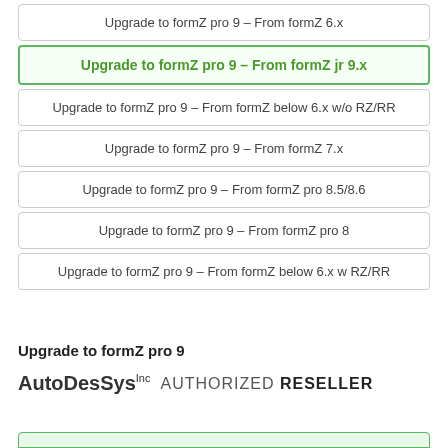Upgrade to formZ pro 9 – From formZ 6.x
Upgrade to formZ pro 9 – From formZ jr 9.x
Upgrade to formZ pro 9 – From formZ below 6.x w/o RZ/RR
Upgrade to formZ pro 9 – From formZ 7.x
Upgrade to formZ pro 9 – From formZ pro 8.5/8.6
Upgrade to formZ pro 9 – From formZ pro 8
Upgrade to formZ pro 9 – From formZ below 6.x w RZ/RR
Upgrade to formZ pro 9
[Figure (logo): AutoDesSys Inc Authorized Reseller logo]